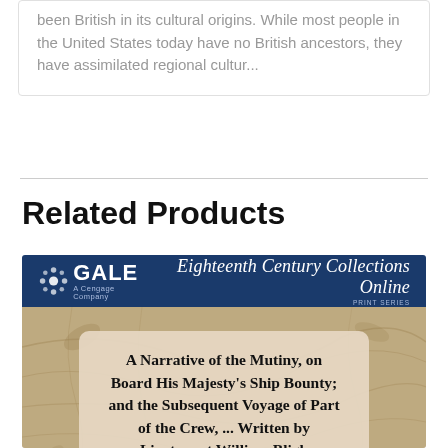been British in its cultural origins. While most people in the United States today have no British ancestors, they have assimilated regional cultur...
Related Products
[Figure (illustration): Gale Eighteenth Century Collections Online product card showing a book cover. The header has a dark navy background with the GALE (A Cengage Company) logo and the title 'Eighteenth Century Collections Online PRINT SERIES'. Below is a book image area with a vintage map background and a beige card in the center containing the title 'A Narrative of the Mutiny, on Board His Majesty's Ship Bounty; and the Subsequent Voyage of Part of the Crew, ... Written by Lieutenant William Bligh'.]